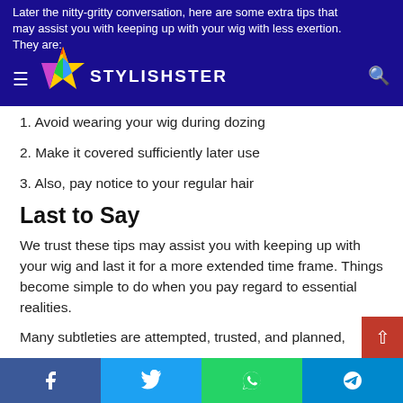Later the nitty-gritty conversation, here are some extra tips that may assist you with keeping up with your wig with less exertion. They are:
1. Avoid wearing your wig during dozing
2. Make it covered sufficiently later use
3. Also, pay notice to your regular hair
Last to Say
We trust these tips may assist you with keeping up with your wig and last it for a more extended time frame. Things become simple to do when you pay regard to essential realities.
Many subtleties are attempted, trusted, and planned,
Facebook | Twitter | WhatsApp | Telegram